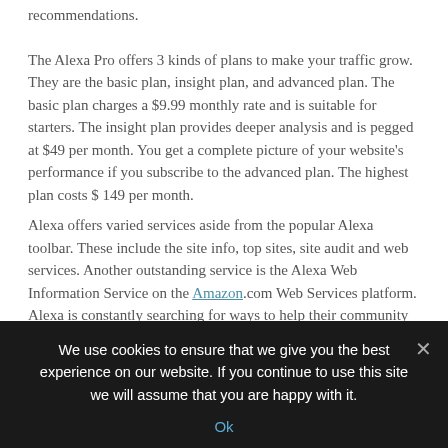recommendations.
The Alexa Pro offers 3 kinds of plans to make your traffic grow. They are the basic plan, insight plan, and advanced plan. The basic plan charges a $9.99 monthly rate and is suitable for starters. The insight plan provides deeper analysis and is pegged at $49 per month. You get a complete picture of your website’s performance if you subscribe to the advanced plan. The highest plan costs $ 149 per month.
Alexa offers varied services aside from the popular Alexa toolbar. These include the site info, top sites, site audit and web services. Another outstanding service is the Alexa Web Information Service on the Amazon.com Web Services platform. Alexa is constantly searching for ways to help their community of users as evident by
We use cookies to ensure that we give you the best experience on our website. If you continue to use this site we will assume that you are happy with it.
Ok